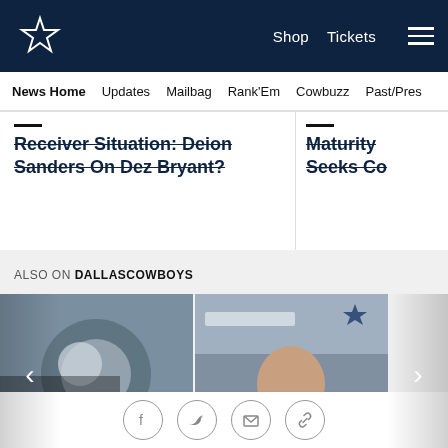Dallas Cowboys - Shop | Tickets | Navigation
News Home  Updates  Mailbag  Rank'Em  Cowbuzz  Past/Pres
Receiver Situation: Deion Sanders On Dez Bryant?
Maturity Seeks Co
ALSO ON DALLASCOWBOYS
[Figure (photo): Football players on field, helmet visible, blurred background. Overlay: 'rs ago • 1 comment' and title 'STAR: On and Off Field, Robert...']
[Figure (photo): Man (coach) at press conference with Bank of America and Dallas Cowboys logos visible. Overlay: '2 years ago • 1 comment' and title 'Dallas Cowboys Postgame Press...']
Social sharing icons: Facebook, Twitter, Email, Link